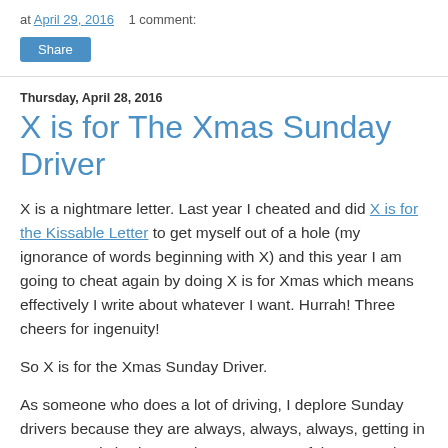at April 29, 2016    1 comment:
Share
Thursday, April 28, 2016
X is for The Xmas Sunday Driver
X is a nightmare letter. Last year I cheated and did X is for the Kissable Letter to get myself out of a hole (my ignorance of words beginning with X) and this year I am going to cheat again by doing X is for Xmas which means effectively I write about whatever I want. Hurrah! Three cheers for ingenuity!
So X is for the Xmas Sunday Driver.
As someone who does a lot of driving, I deplore Sunday drivers because they are always, always, always, getting in my way and slowing me down. I am one of those people who drive to the speed limit so if I get stuck behind an elderly couple driving at 40 mph in a 60 mph zone because they are